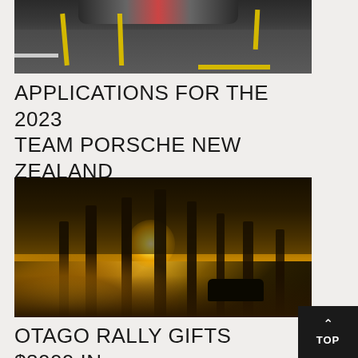[Figure (photo): Aerial or low-angle view of a racing car on a road with yellow and white road markings on dark asphalt]
APPLICATIONS FOR THE 2023 TEAM PORSCHE NEW ZEALAND SCHOLARSHIP OPEN
[Figure (photo): A rally car driving through a forest scene at sunset/sunrise, with golden light bursting through tall trees and dust or smoke in the foreground]
OTAGO RALLY GIFTS $8000 IN OFFSET FOR CARBON